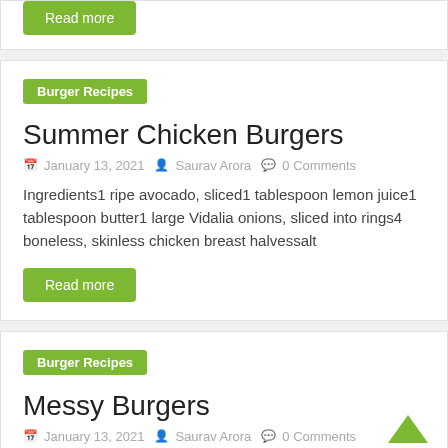Read more
Burger Recipes
Summer Chicken Burgers
January 13, 2021  Saurav Arora  0 Comments
Ingredients1 ripe avocado, sliced1 tablespoon lemon juice1 tablespoon butter1 large Vidalia onions, sliced into rings4 boneless, skinless chicken breast halvessalt
Read more
Burger Recipes
Messy Burgers
January 13, 2021  Saurav Arora  0 Comments